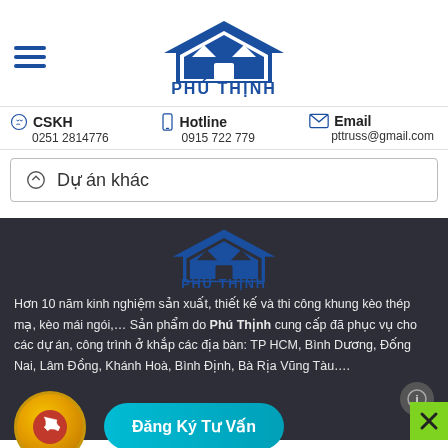[Figure (logo): Phú Thịnh logo with house/roof graphic and text PHÚ THỊNH in dark blue]
CSKH
0251 2814776
Hotline
0915 722 779
Email
pttruss@gmail.com
Dự án khác
[Figure (logo): Phú Thịnh logo (dark background version)]
Hơn 10 năm kinh nghiệm sản xuất, thiết kế và thi công khung kèo thép mạ, kèo mái ngói,… Sản phẩm do Phú Thịnh cung cấp đã phục vụ cho các dự án, công trình ở khắp các địa bàn: TP HCM, Bình Dương, Đống Nai, Lâm Đồng, Khánh Hoà, Bình Định, Bà Rịa Vũng Tàu….
Đăng Ký Tư Vấn
DANH MỤC